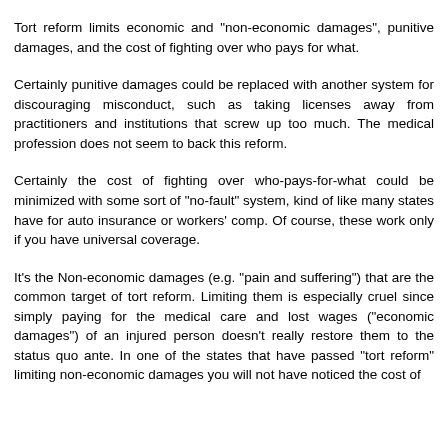Tort reform limits economic and "non-economic damages", punitive damages, and the cost of fighting over who pays for what.
Certainly punitive damages could be replaced with another system for discouraging misconduct, such as taking licenses away from practitioners and institutions that screw up too much. The medical profession does not seem to back this reform.
Certainly the cost of fighting over who-pays-for-what could be minimized with some sort of "no-fault" system, kind of like many states have for auto insurance or workers' comp. Of course, these work only if you have universal coverage.
It's the Non-economic damages (e.g. "pain and suffering") that are the common target of tort reform. Limiting them is especially cruel since simply paying for the medical care and lost wages ("economic damages") of an injured person doesn't really restore them to the status quo ante. In one of the states that have passed "tort reform" limiting non-economic damages you will not have noticed the cost of